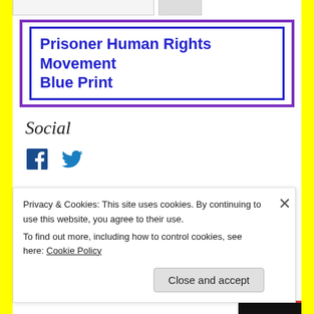Prisoner Human Rights Movement Blue Print
Social
[Figure (illustration): Facebook and Twitter social media icons]
Support Sitawa and his Family!
Privacy & Cookies: This site uses cookies. By continuing to use this website, you agree to their use. To find out more, including how to control cookies, see here: Cookie Policy